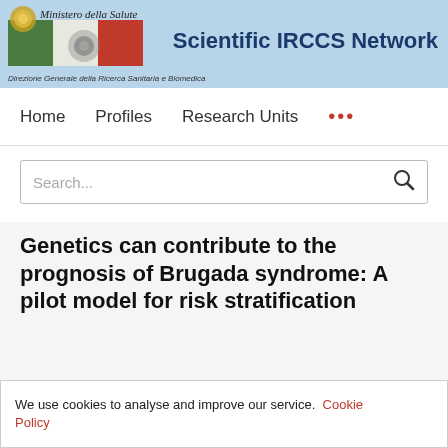Ministero della Salute — Scientific IRCCS Network — Direzione Generale della Ricerca Sanitaria e Biomedica
Home   Profiles   Research Units   •••
Search...
Genetics can contribute to the prognosis of Brugada syndrome: A pilot model for risk stratification
We use cookies to analyse and improve our service. Cookie Policy